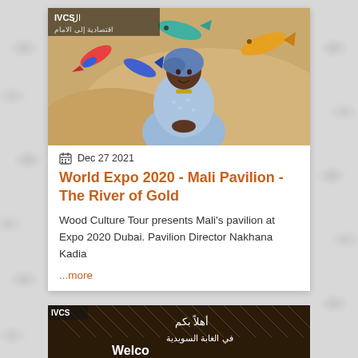[Figure (photo): Photo of a woman in traditional blue West African dress and headwrap, smiling, standing in front of a decorative wall with colorful sculpted fish and Arabic text, likely inside the Mali Pavilion at Expo 2020 Dubai.]
Dec 27 2021
World Expo 2020 - Mali Pavilion - The River of Gold
Wood Culture Tour presents Mali's pavilion at Expo 2020 Dubai. Pavilion Director Nakhana Kadia
...more
[Figure (photo): Partial view of a pavilion entrance sign in Arabic and English reading 'Welcome', with a decorative lattice structure in the background.]